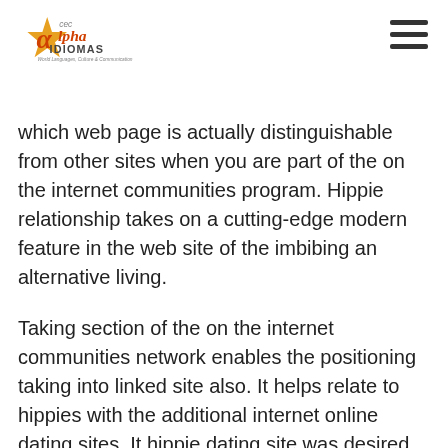CEC Alpha Idiomas - World Languages, Culture & Communication
which web page is actually distinguishable from other sites when you are part of the on the internet communities program. Hippie relationship takes on a cutting-edge modern feature in the web site of the imbibing an alternative living.
Taking section of the on the internet communities network enables the positioning taking into linked site also. It helps relate to hippies with the additional internet online dating sites. It hippie dating site was desired for its big link and get to among spiritual american singles in addition to.
6)  Religious American